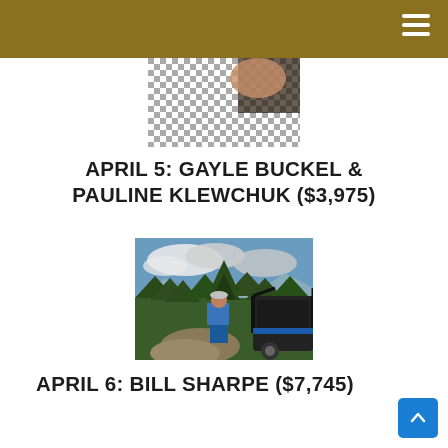[Figure (photo): Partial photo of a person wearing a black and white checkered/patterned top, cropped at top]
APRIL 5: GAYLE BUCKEL & PAULINE KLEWCHUK ($3,975)
[Figure (photo): Outdoor mountain landscape photo showing a person in a blue shirt and cap standing next to an off-road vehicle (UTV/side-by-side) on a mountain trail with evergreen trees and mountain range in the background]
APRIL 6: BILL SHARPE ($7,745)